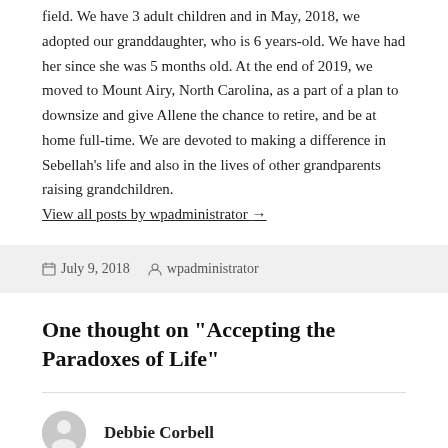field. We have 3 adult children and in May, 2018, we adopted our granddaughter, who is 6 years-old. We have had her since she was 5 months old. At the end of 2019, we moved to Mount Airy, North Carolina, as a part of a plan to downsize and give Allene the chance to retire, and be at home full-time. We are devoted to making a difference in Sebellah’s life and also in the lives of other grandparents raising grandchildren.
View all posts by wpadministrator →
July 9, 2018   wpadministrator
One thought on “Accepting the Paradoxes of Life”
Debbie Corbell
July 12, 2018 at 2:15 am